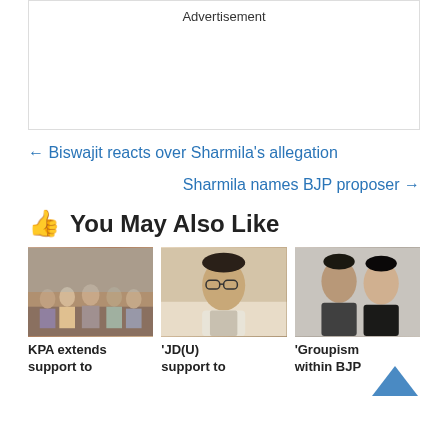Advertisement
← Biswajit reacts over Sharmila's allegation
Sharmila names BJP proposer →
👍 You May Also Like
[Figure (photo): Group photo of people in formal setting]
[Figure (photo): Man with glasses speaking]
[Figure (photo): Two men in formal attire]
KPA extends support to
'JD(U) support to
'Groupism within BJP